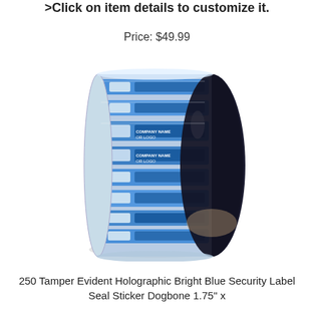>Click on item details to customize it.
Price: $49.99
[Figure (photo): A roll of 250 Tamper Evident Holographic Bright Blue Security Label Seal Sticker Dogbone shape on white background. The roll shows multiple blue holographic labels with 'COMPANY NAME OR LOGO' printed on them.]
250 Tamper Evident Holographic Bright Blue Security Label Seal Sticker Dogbone 1.75" x